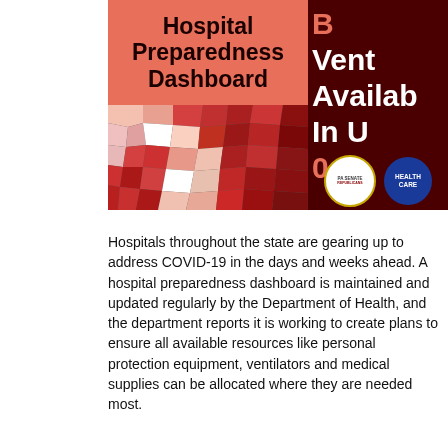[Figure (infographic): Hospital Preparedness Dashboard banner with a Pennsylvania county-level choropleth map in shades of red/pink, and text panel on the right showing 'Beds / Ventilator Availability / In Use / ?' in salmon on dark red background. PA Senate Republicans and Health Care logos at bottom right.]
Hospitals throughout the state are gearing up to address COVID-19 in the days and weeks ahead. A hospital preparedness dashboard is maintained and updated regularly by the Department of Health, and the department reports it is working to create plans to ensure all available resources like personal protection equipment, ventilators and medical supplies can be allocated where they are needed most.